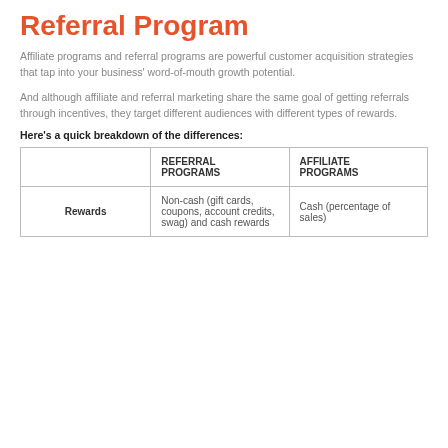Referral Program
Affiliate programs and referral programs are powerful customer acquisition strategies that tap into your business' word-of-mouth growth potential.
And although affiliate and referral marketing share the same goal of getting referrals through incentives, they target different audiences with different types of rewards.
Here's a quick breakdown of the differences:
|  | REFERRAL PROGRAMS | AFFILIATE PROGRAMS |
| --- | --- | --- |
| Rewards | Non-cash (gift cards, coupons, account credits, swag) and cash rewards | Cash (percentage of sales) |